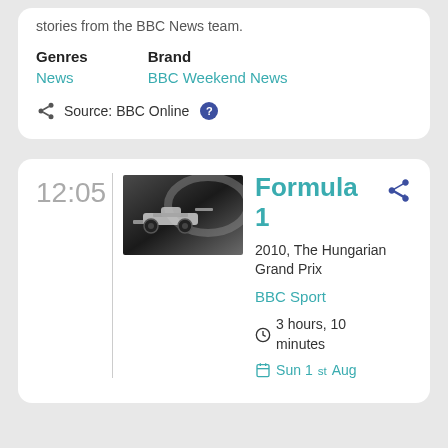stories from the BBC News team.
Genres
News
Brand
BBC Weekend News
Source: BBC Online
12:05
[Figure (photo): Formula 1 racing car on track, dark/grey tones]
Formula 1
2010, The Hungarian Grand Prix
BBC Sport
3 hours, 10 minutes
Sun 1st Aug